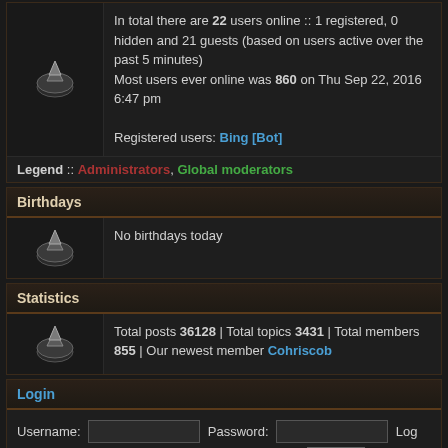In total there are 22 users online :: 1 registered, 0 hidden and 21 guests (based on users active over the past 5 minutes) Most users ever online was 860 on Thu Sep 22, 2016 6:47 pm
Registered users: Bing [Bot]
Legend :: Administrators, Global moderators
Birthdays
No birthdays today
Statistics
Total posts 36128 | Total topics 3431 | Total members 855 | Our newest member Cohriscob
Login
Username: [input] Password: [input] Log me on automatically each visit [checkbox] Login